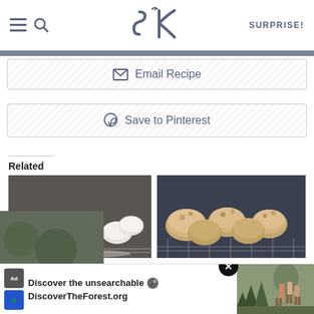SK logo header with hamburger menu, search icon, and SURPRISE! button
Email Recipe
Save to Pinterest
Related
[Figure (photo): Cashew butter balls - white powdered sugar covered round cookies on a cooling rack]
cashew butter balls
[Figure (photo): Irish soda bread scones - golden baked scones on a cooling rack]
irish soda bread scones
[Figure (screenshot): Advertisement banner: Discover the unsearchable - DiscoverTheForest.org with forest/hiking image]